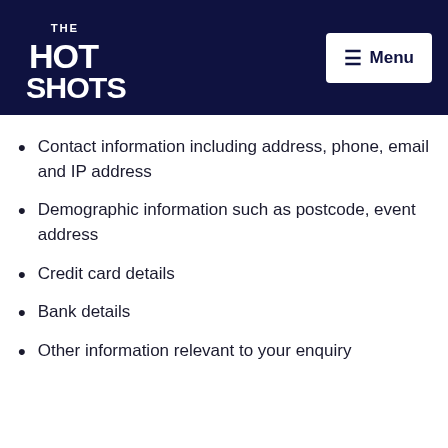The Hot Shots | Menu
Contact information including address, phone, email and IP address
Demographic information such as postcode, event address
Credit card details
Bank details
Other information relevant to your enquiry